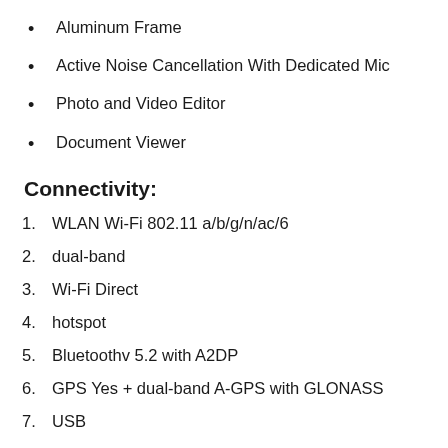Aluminum Frame
Active Noise Cancellation With Dedicated Mic
Photo and Video Editor
Document Viewer
Connectivity:
WLAN Wi-Fi 802.11 a/b/g/n/ac/6
dual-band
Wi-Fi Direct
hotspot
Bluetoothv 5.2 with A2DP
GPS Yes + dual-band A-GPS with GLONASS
USB